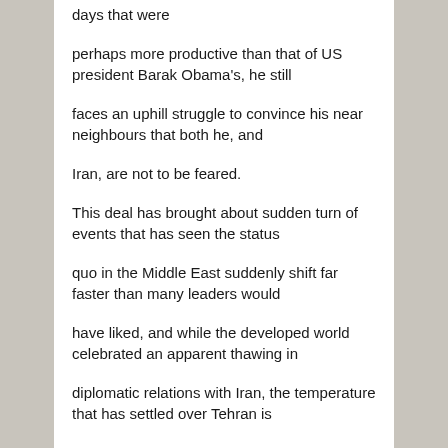days that were
perhaps more productive than that of US president Barak Obama's, he still
faces an uphill struggle to convince his near neighbours that both he, and
Iran, are not to be feared.
This deal has brought about sudden turn of events that has seen the status
quo in the Middle East suddenly shift far faster than many leaders would
have liked, and while the developed world celebrated an apparent thawing in
diplomatic relations with Iran, the temperature that has settled over Tehran is